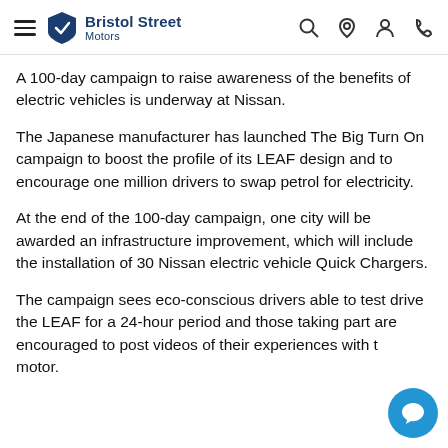Bristol Street Motors
A 100-day campaign to raise awareness of the benefits of electric vehicles is underway at Nissan.
The Japanese manufacturer has launched The Big Turn On campaign to boost the profile of its LEAF design and to encourage one million drivers to swap petrol for electricity.
At the end of the 100-day campaign, one city will be awarded an infrastructure improvement, which will include the installation of 30 Nissan electric vehicle Quick Chargers.
The campaign sees eco-conscious drivers able to test drive the LEAF for a 24-hour period and those taking part are encouraged to post videos of their experiences with the motor.